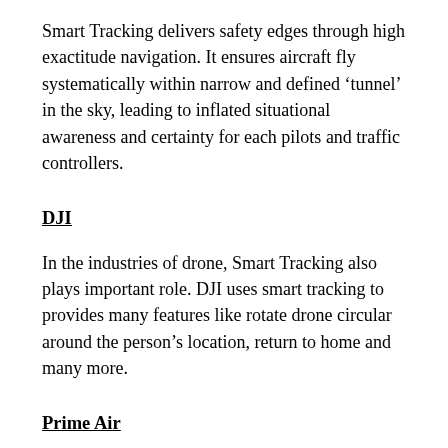Smart Tracking delivers safety edges through high exactitude navigation. It ensures aircraft fly systematically within narrow and defined ‘tunnel’ in the sky, leading to inflated situational awareness and certainty for each pilots and traffic controllers.
DJI
In the industries of drone, Smart Tracking also plays important role. DJI uses smart tracking to provides many features like rotate drone circular around the person’s location, return to home and many more.
Prime Air
Prime Air is one of product of Amazon to carry out deliveries on air with help of drones. They use smart tracking in their drones to locate shipping